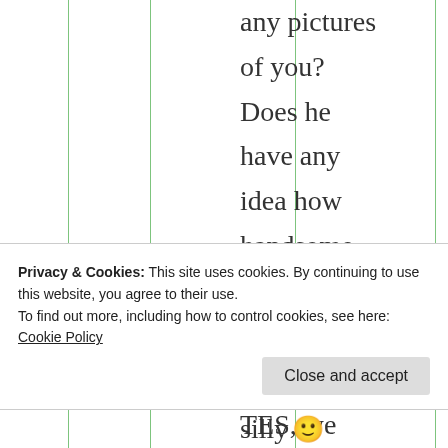any pictures of you? Does he have any idea how handsome you are? (Just busting, TES, we
Privacy & Cookies: This site uses cookies. By continuing to use this website, you agree to their use. To find out more, including how to control cookies, see here: Cookie Policy
silly 🙂